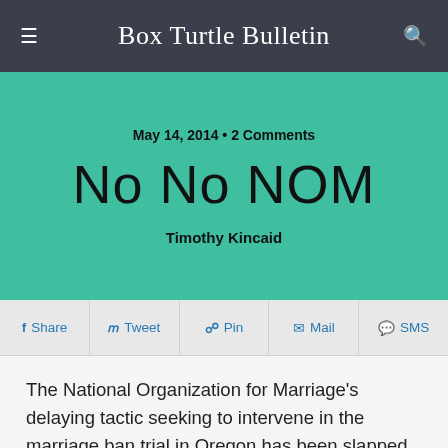Box Turtle Bulletin
May 14, 2014 • 2 Comments
No No NOM
Timothy Kincaid
f Share  Tweet  Pin  Mail  SMS
The National Organization for Marriage's delaying tactic seeking to intervene in the marriage ban trial in Oregon has been slapped down. (Oregon Live)
After a nearly hourlong hearing, McShane ruled that the National Organization for Marriage was unreasonably late in filing its request to